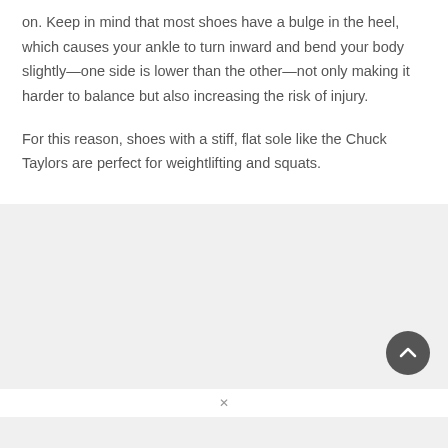on. Keep in mind that most shoes have a bulge in the heel, which causes your ankle to turn inward and bend your body slightly—one side is lower than the other—not only making it harder to balance but also increasing the risk of injury.

For this reason, shoes with a stiff, flat sole like the Chuck Taylors are perfect for weightlifting and squats.
[Figure (other): Scroll-to-top circular button with an upward chevron arrow, dark gray background]